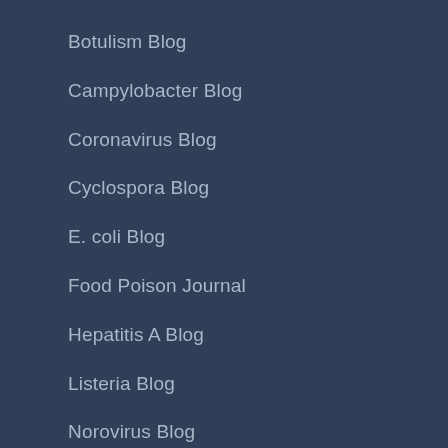Botulism Blog
Campylobacter Blog
Coronavirus Blog
Cyclospora Blog
E. coli Blog
Food Poison Journal
Hepatitis A Blog
Listeria Blog
Norovirus Blog
Salmonella Blog
Shigella Blog
Disease